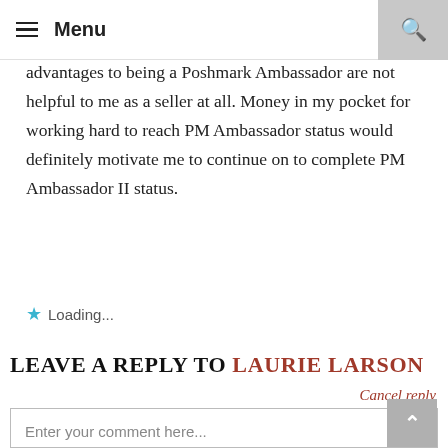Menu
advantages to being a Poshmark Ambassador are not helpful to me as a seller at all. Money in my pocket for working hard to reach PM Ambassador status would definitely motivate me to continue on to complete PM Ambassador II status.
Loading...
LEAVE A REPLY TO LAURIE LARSON
Cancel reply
Enter your comment here...